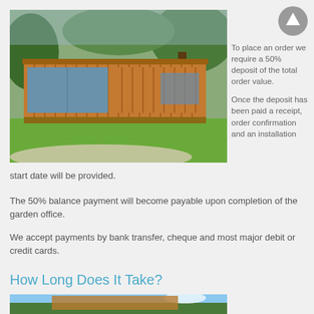[Figure (photo): A modern timber-clad garden office building with large glass sliding doors, set on a gravel base surrounded by green lawn and trees.]
To place an order we require a 50% deposit of the total order value.

Once the deposit has been paid a receipt, order confirmation and an installation start date will be provided.
The 50% balance payment will become payable upon completion of the garden office.
We accept payments by bank transfer, cheque and most major debit or credit cards.
How Long Does It Take?
[Figure (photo): A garden building with a tiled roof set against a blue sky with trees in background.]